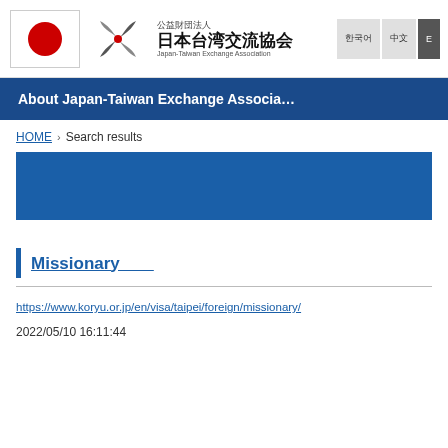公益財団法人 日本台湾交流協会 Japan-Taiwan Exchange Association
About Japan-Taiwan Exchange Associa...
HOME › Search results
[Figure (other): Blue search bar area]
Missionary
https://www.koryu.or.jp/en/visa/taipei/foreign/missionary/
2022/05/10 16:11:44